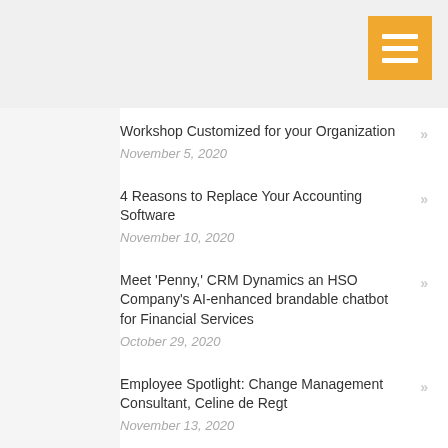[Figure (other): Orange hamburger menu icon button in top-right corner]
Workshop Customized for your Organization
November 5, 2020
4 Reasons to Replace Your Accounting Software
November 10, 2020
Meet ‘Penny,’ CRM Dynamics an HSO Company's AI-enhanced brandable chatbot for Financial Services
October 29, 2020
Employee Spotlight: Change Management Consultant, Celine de Regt
November 13, 2020
3 Ways Our Construction Blueprint Will Help You Win More Business